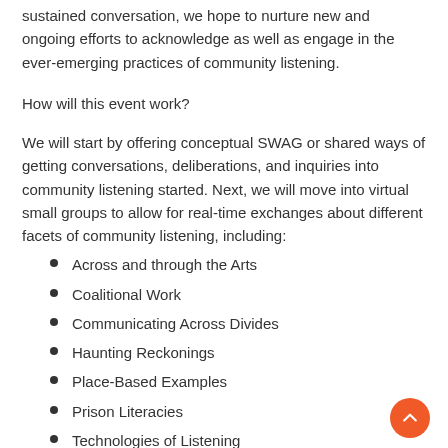sustained conversation, we hope to nurture new and ongoing efforts to acknowledge as well as engage in the ever-emerging practices of community listening.
How will this event work?
We will start by offering conceptual SWAG or shared ways of getting conversations, deliberations, and inquiries into community listening started. Next, we will move into virtual small groups to allow for real-time exchanges about different facets of community listening, including:
Across and through the Arts
Coalitional Work
Communicating Across Divides
Haunting Reckonings
Place-Based Examples
Prison Literacies
Technologies of Listening